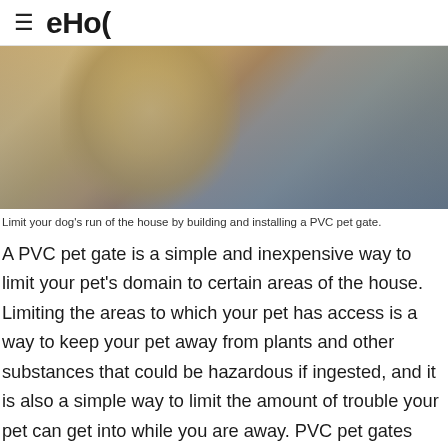eHow
[Figure (photo): Close-up photo of a dog, blurred background in gray/blue tones, golden/tan fur visible]
Limit your dog's run of the house by building and installing a PVC pet gate.
A PVC pet gate is a simple and inexpensive way to limit your pet's domain to certain areas of the house. Limiting the areas to which your pet has access is a way to keep your pet away from plants and other substances that could be hazardous if ingested, and it is also a simple way to limit the amount of trouble your pet can get into while you are away. PVC pet gates can be constructed in a matter of minutes, and they can be installed quickly and even moved from room to room if